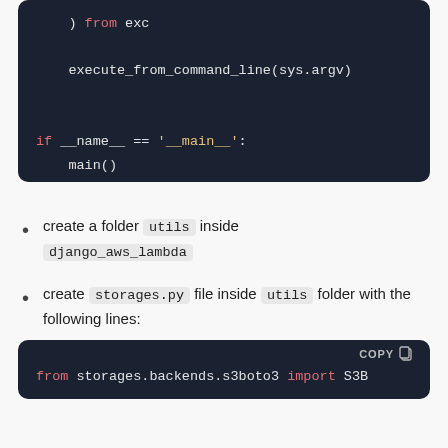[Figure (screenshot): Code block showing Python code: execute_from_command_line(sys.argv), if __name__ == '__main__': main()]
create a folder utils inside django_aws_lambda
create storages.py file inside utils folder with the following lines:
[Figure (screenshot): Code block with COPY button showing: from storages.backends.s3boto3 import S3B...]